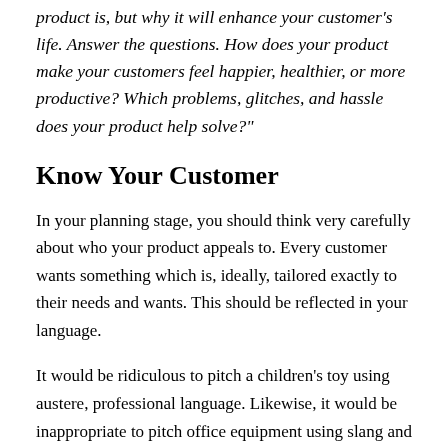product is, but why it will enhance your customer's life. Answer the questions. How does your product make your customers feel happier, healthier, or more productive? Which problems, glitches, and hassle does your product help solve?"
Know Your Customer
In your planning stage, you should think very carefully about who your product appeals to. Every customer wants something which is, ideally, tailored exactly to their needs and wants. This should be reflected in your language.
It would be ridiculous to pitch a children's toy using austere, professional language. Likewise, it would be inappropriate to pitch office equipment using slang and gimmicky language. It's useful to sometimes create your ideal customer on paper and think about how you would sell to them in real life. Your product